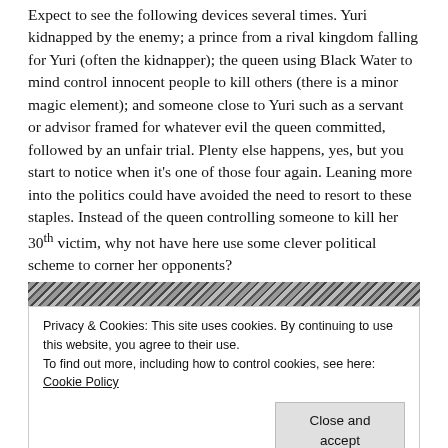Expect to see the following devices several times. Yuri kidnapped by the enemy; a prince from a rival kingdom falling for Yuri (often the kidnapper); the queen using Black Water to mind control innocent people to kill others (there is a minor magic element); and someone close to Yuri such as a servant or advisor framed for whatever evil the queen committed, followed by an unfair trial. Plenty else happens, yes, but you start to notice when it's one of those four again. Leaning more into the politics could have avoided the need to resort to these staples. Instead of the queen controlling someone to kill her 30th victim, why not have here use some clever political scheme to corner her opponents?
[Figure (photo): Partially visible manga/illustration image in black and white, partially obscured by a cookie consent banner overlay.]
Privacy & Cookies: This site uses cookies. By continuing to use this website, you agree to their use.
To find out more, including how to control cookies, see here: Cookie Policy

[Close and accept]